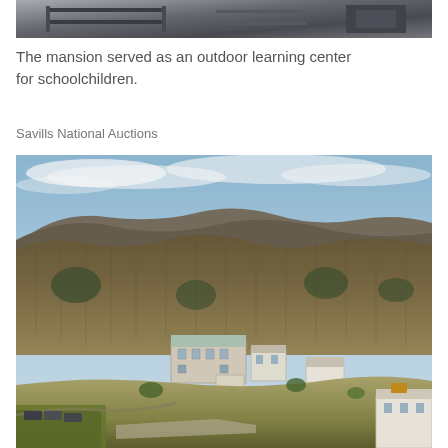[Figure (photo): Interior photo showing what appears to be bunk beds or shelving units, partially visible from above, suggesting a dormitory or storage area.]
The mansion served as an outdoor learning center for schoolchildren.
Savills National Auctions
[Figure (photo): Aerial drone photograph of a large mansion set within extensive woodland and hillside, surrounded by bare winter trees, with rolling hills in the background under a cloudy blue sky. Several white buildings visible nestled in the valley.]